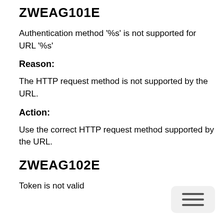ZWEAG101E
Authentication method '%s' is not supported for URL '%s'
Reason:
The HTTP request method is not supported by the URL.
Action:
Use the correct HTTP request method supported by the URL.
ZWEAG102E
Token is not valid